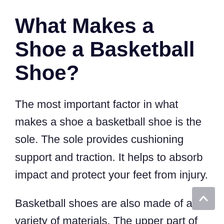What Makes a Shoe a Basketball Shoe?
The most important factor in what makes a shoe a basketball shoe is the sole. The sole provides cushioning support and traction. It helps to absorb impact and protect your feet from injury.
Basketball shoes are also made of a variety of materials. The upper part of the shoe is important. It helps to hold the shoe onto your foot and provides support. The material...